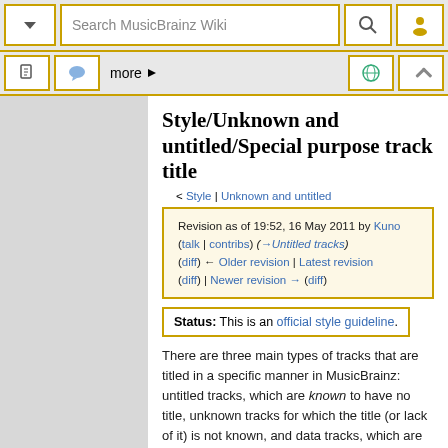Search MusicBrainz Wiki
Style/Unknown and untitled/Special purpose track title
< Style | Unknown and untitled
Revision as of 19:52, 16 May 2011 by Kuno (talk | contribs) (→Untitled tracks) (diff) ← Older revision | Latest revision (diff) | Newer revision → (diff)
Status: This is an official style guideline.
There are three main types of tracks that are titled in a specific manner in MusicBrainz: untitled tracks, which are known to have no title, unknown tracks for which the title (or lack of it) is not known, and data tracks, which are not real audio tracks.